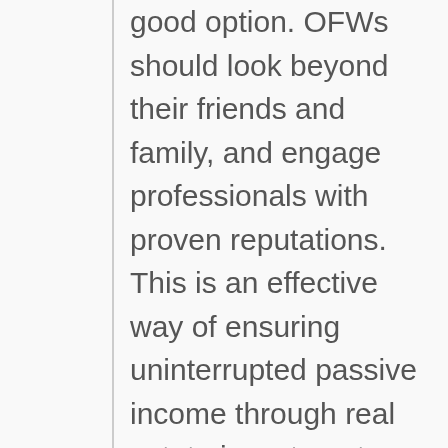good option. OFWs should look beyond their friends and family, and engage professionals with proven reputations. This is an effective way of ensuring uninterrupted passive income through real estate investments.
The Role Of Technology In Real Estate Investment
Many Filipinos are tech-savvy. They enjoy social media browsing, creating videos, shopping, and